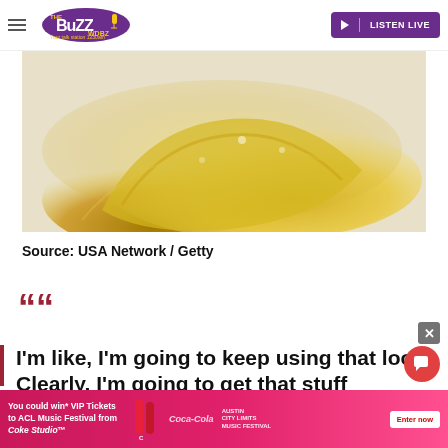The Buzz WDBZ 1230am | LISTEN LIVE
[Figure (photo): Close-up photo of a golden-yellow substance (possibly cannabis concentrate or golden food item) on a white background]
Source: USA Network / Getty
““
I'm like, I'm going to keep using that look. Clearly, I'm going to get that stuff copyrighted. This is a good ...
[Figure (other): Advertisement: You could win* VIP Tickets to ACL Music Festival from Coke Studio™ — Enter now]